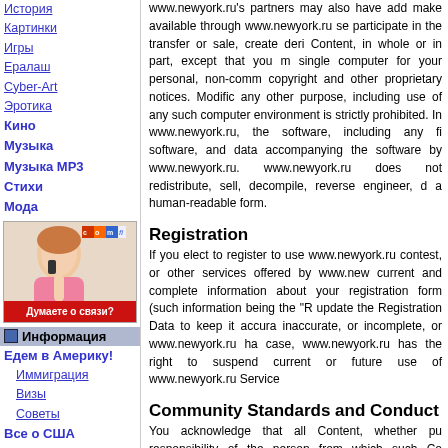История
Картинки
Игры
Ералаш
Cyber-Art
Эротика
Кино
Музыка
Музыка МР3
Стихи
Мода
[Figure (photo): Advertisement banner with a woman on the phone, Comfi branding, and 'Думаете о связи?' text]
Информация
Едем в Америку!
Иммиграция
Визы
Советы
Все о США
Штаты
Russian America TOP
Рейтинг
Посольства
Консульства
www.newyork.ru's partners may also have add make available through www.newyork.ru se participate in the transfer or sale, create deri Content, in whole or in part, except that you single computer for your personal, non-com copyright and other proprietary notices. Modifi any other purpose, including use of any suc computer environment is strictly prohibited. I www.newyork.ru, the software, including any f software, and data accompanying the software by www.newyork.ru. www.newyork.ru does not redistribute, sell, decompile, reverse engineer, a human-readable form.
Registration
If you elect to register to use www.newyork.ru contest, or other services offered by www.new current and complete information about your registration form (such information being the "R update the Registration Data to keep it accura inaccurate, or incomplete, or www.newyork.ru h case, www.newyork.ru has the right to suspend current or future use of www.newyork.ru Service
Community Standards and Conduct
You acknowledge that all Content, whether pu responsibility of the person from which such Co responsible for all Content that you post, email